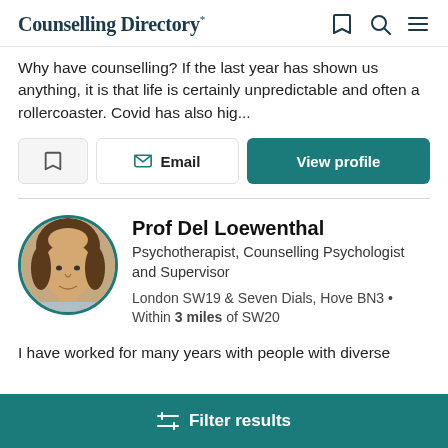Counselling Directory
Why have counselling? If the last year has shown us anything, it is that life is certainly unpredictable and often a rollercoaster. Covid has also hig...
Prof Del Loewenthal
Psychotherapist, Counselling Psychologist and Supervisor
London SW19 & Seven Dials, Hove BN3 • Within 3 miles of SW20
I have worked for many years with people with diverse
Filter results